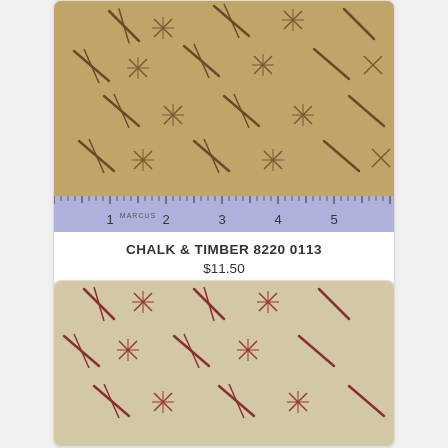[Figure (photo): Tan/khaki fabric with dark brown diagonal scratch and hashtag-like cross-stitch pattern, with a light purple ruler showing inches 1-5 with Marcus branding at bottom]
CHALK & TIMBER 8220 0113
$11.50
[Figure (photo): Cream/beige fabric with dark red/burgundy diagonal scratch and hashtag-like cross-stitch pattern]